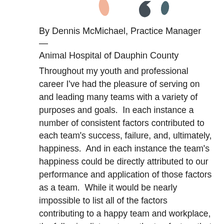[Figure (illustration): Decorative quotation mark and leaf/petal shapes at the top of the page in peach, dark gray, and teal colors.]
By Dennis McMichael, Practice Manager — Animal Hospital of Dauphin County
Throughout my youth and professional career I've had the pleasure of serving on and leading many teams with a variety of purposes and goals.  In each instance a number of consistent factors contributed to each team's success, failure, and, ultimately, happiness.  And in each instance the team's happiness could be directly attributed to our performance and application of those factors as a team.  While it would be nearly impossible to list all of the factors contributing to a happy team and workplace, the following list captures the top factors that I consider to be the most consistently impactful in cracking open your workplace Zen (as a team)